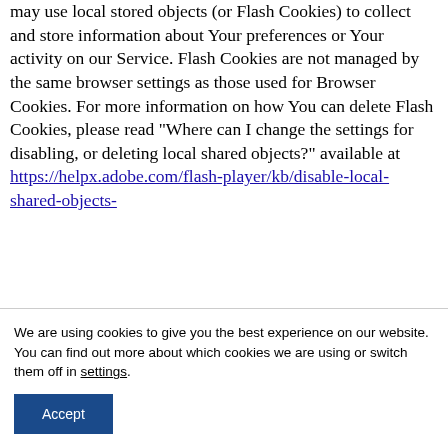may use local stored objects (or Flash Cookies) to collect and store information about Your preferences or Your activity on our Service. Flash Cookies are not managed by the same browser settings as those used for Browser Cookies. For more information on how You can delete Flash Cookies, please read "Where can I change the settings for disabling, or deleting local shared objects?" available at https://helpx.adobe.com/flash-player/kb/disable-local-shared-objects-
We are using cookies to give you the best experience on our website.
You can find out more about which cookies we are using or switch them off in settings.